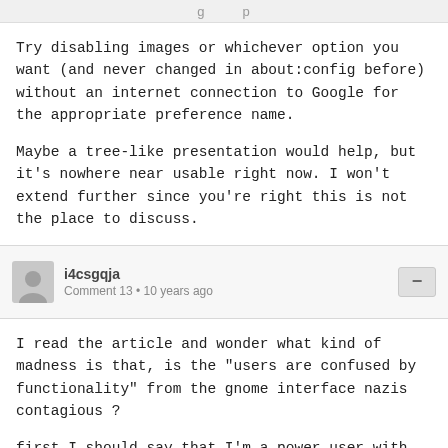g   p
Try disabling images or whichever option you want (and never changed in about:config before) without an internet connection to Google for the appropriate preference name.

Maybe a tree-like presentation would help, but it's nowhere near usable right now. I won't extend further since you're right this is not the place to discuss.
i4csgqja
Comment 13 • 10 years ago
I read the article and wonder what kind of madness is that, is the "users are confused by functionality" from the gnome interface nazis contagious ?

first I should say that I'm a power user with